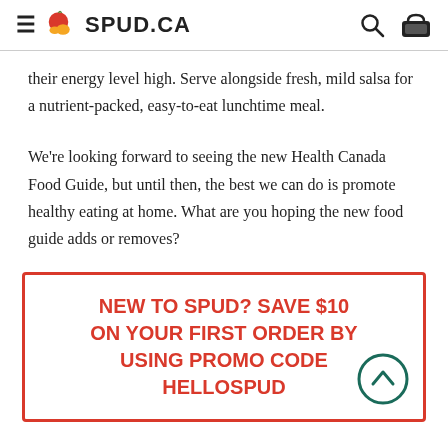SPUD.CA
their energy level high. Serve alongside fresh, mild salsa for a nutrient-packed, easy-to-eat lunchtime meal.
We're looking forward to seeing the new Health Canada Food Guide, but until then, the best we can do is promote healthy eating at home. What are you hoping the new food guide adds or removes?
NEW TO SPUD? SAVE $10 ON YOUR FIRST ORDER BY USING PROMO CODE HELLOSPUD